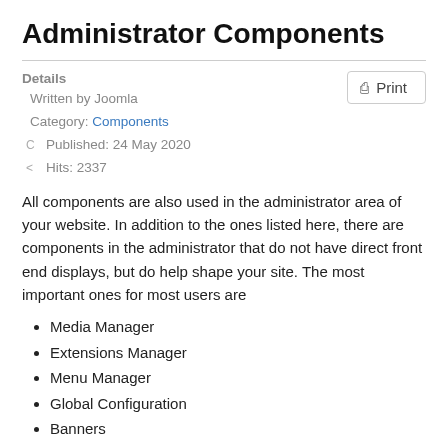Administrator Components
Details
Written by Joomla
Category: Components
Published: 24 May 2020
Hits: 2337
All components are also used in the administrator area of your website. In addition to the ones listed here, there are components in the administrator that do not have direct front end displays, but do help shape your site. The most important ones for most users are
Media Manager
Extensions Manager
Menu Manager
Global Configuration
Banners
Redirect
Media Manager
The media manager component lets you upload and insert images into